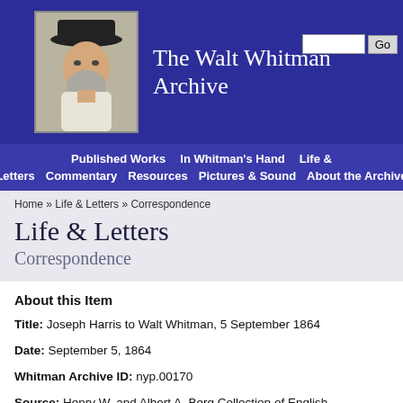[Figure (logo): The Walt Whitman Archive header banner with portrait of Walt Whitman and site title]
The Walt Whitman Archive
Published Works  In Whitman's Hand  Life & Letters  Commentary  Resources  Pictures & Sound  About the Archive
Home » Life & Letters » Correspondence
Life & Letters
Correspondence
About this Item
Title: Joseph Harris to Walt Whitman, 5 September 1864
Date: September 5, 1864
Whitman Archive ID: nyp.00170
Source: Henry W. and Albert A. Berg Collection of English